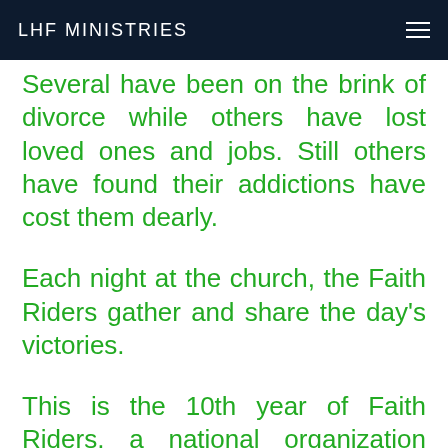LHF MINISTRIES
Several have been on the brink of divorce while others have lost loved ones and jobs. Still others have found their addictions have cost them dearly.
Each night at the church, the Faith Riders gather and share the day's victories.
This is the 10th year of Faith Riders, a national organization envisioned by Buddy Newsome, who was led to Christ as an adult through the ministry